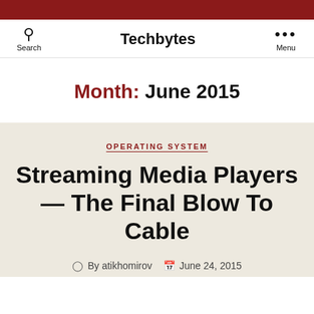Techbytes — Search | Menu
Month: June 2015
OPERATING SYSTEM
Streaming Media Players — The Final Blow To Cable
By atikhomirov  June 24, 2015